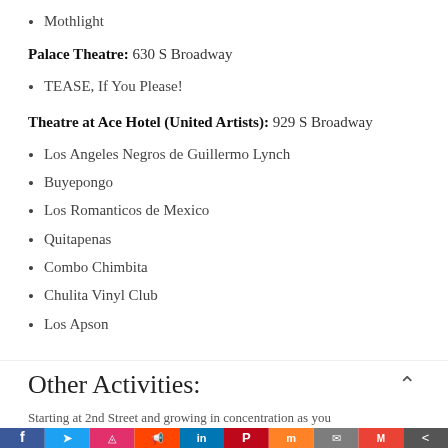Mothlight
Palace Theatre:  630 S Broadway
TEASE, If You Please!
Theatre at Ace Hotel (United Artists): 929 S Broadway
Los Angeles Negros de Guillermo Lynch
Buyepongo
Los Romanticos de Mexico
Quitapenas
Combo Chimbita
Chulita Vinyl Club
Los Apson
Other Activities:
Starting at 2nd Street and growing in concentration as you